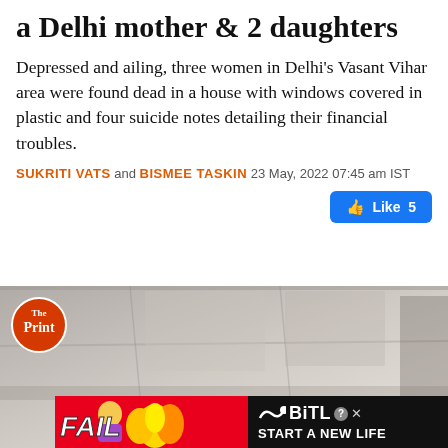a Delhi mother & 2 daughters
Depressed and ailing, three women in Delhi's Vasant Vihar area were found dead in a house with windows covered in plastic and four suicide notes detailing their financial troubles.
SUKRITI VATS and BISMEE TASKIN 23 May, 2022 07:45 am IST
[Figure (screenshot): Like 5 button (Facebook-style blue like button showing thumbs up icon and count of 5)]
[Figure (photo): A photo of an interior/exterior of a building with The Print logo overlaid in top left, and a BitLife advertisement banner across the bottom reading FAIL with cartoon character and flames, then START A NEW LIFE on dark background]